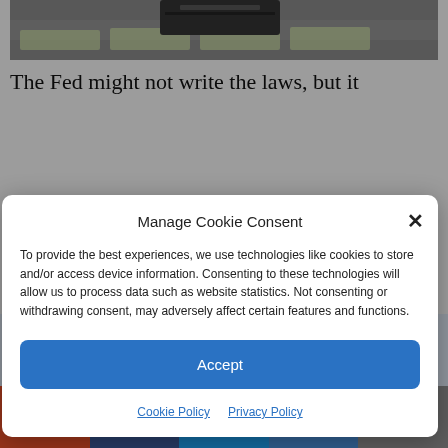[Figure (photo): Photograph of a money counting machine with US dollar bills, partially visible at top of page]
The Fed might not write the laws, but it
Sixteenth of December
Manage Cookie Consent
To provide the best experiences, we use technologies like cookies to store and/or access device information. Consenting to these technologies will allow us to process data such as website statistics. Not consenting or withdrawing consent, may adversely affect certain features and functions.
Accept
Cookie Policy   Privacy Policy